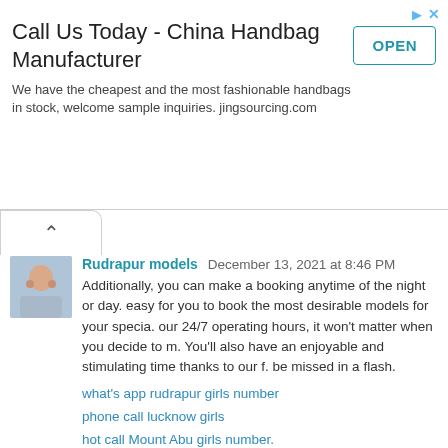[Figure (other): Advertisement banner for China Handbag Manufacturer (jingsourcing.com) with OPEN button]
Additionally, you can make a booking anytime of the night or day. easy for you to book the most desirable models for your specia. our 24/7 operating hours, it won't matter when you decide to m. You'll also have an enjoyable and stimulating time thanks to our f. be missed in a flash.
what's app rudrapur girls number
phone call lucknow girls
hot call Mount Abu girls number.
call dehradun girls phone number
call haridwar girls phone number
what's app beawar girls number
Reply
Sinen Yoku  December 20, 2021 at 1:51 AM
Fantastic blog post. Really thank you! Cool.
check more info about tote bag printing